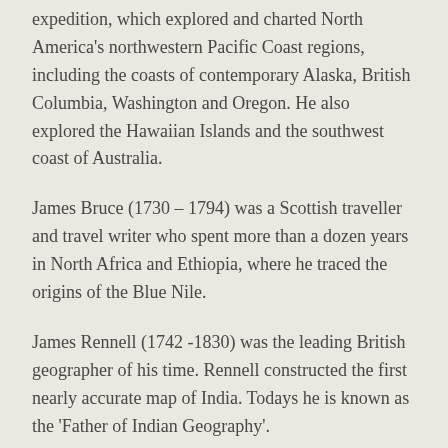expedition, which explored and charted North America's northwestern Pacific Coast regions, including the coasts of contemporary Alaska, British Columbia, Washington and Oregon. He also explored the Hawaiian Islands and the southwest coast of Australia.
James Bruce (1730 – 1794) was a Scottish traveller and travel writer who spent more than a dozen years in North Africa and Ethiopia, where he traced the origins of the Blue Nile.
James Rennell (1742 -1830) was the leading British geographer of his time. Rennell constructed the first nearly accurate map of India. Todays he is known as the 'Father of Indian Geography'.
Mungo Park (1771 – 1806) was a Scottish explorer of the African continent. He was the first Westerner